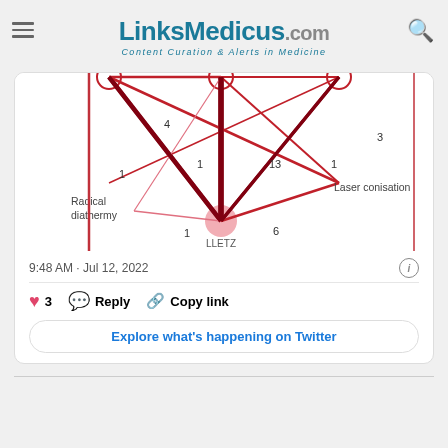[Figure (logo): LinksMedicus.com logo with tagline Content Curation & Alerts in Medicine]
[Figure (network-graph): Network graph showing connections between medical procedures including LLETZ, Laser conisation, Radical diathermy with numbered edges (1, 4, 1, 13, 1, 6, 3, 1) shown as red lines of varying thickness]
9:48 AM · Jul 12, 2022
3  Reply  Copy link
Explore what's happening on Twitter